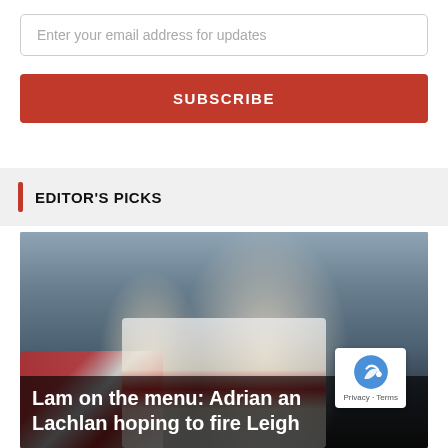Enter your email address for updates
SUBSCRIBE
EDITOR'S PICKS
[Figure (photo): Rugby league players in red and white jerseys celebrating with fans, taking selfies]
Lam on the menu: Adrian and Lachlan hoping to fire Leigh